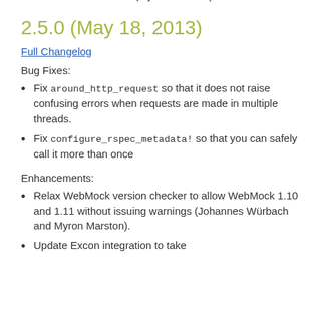Marston)
Fix Typhoeus adapter so that it sets effective_url properly when the :followlocation option is used and a redirect is followed. (Myron Marston)
2.5.0 (May 18, 2013)
Full Changelog
Bug Fixes:
Fix around_http_request so that it does not raise confusing errors when requests are made in multiple threads.
Fix configure_rspec_metadata! so that you can safely call it more than once
Enhancements:
Relax WebMock version checker to allow WebMock 1.10 and 1.11 without issuing warnings (Johannes Würbach and Myron Marston).
Update Excon integration to take